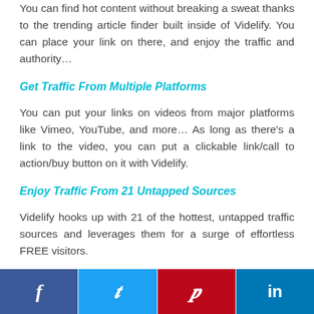You can find hot content without breaking a sweat thanks to the trending article finder built inside of Videlify. You can place your link on there, and enjoy the traffic and authority…
Get Traffic From Multiple Platforms
You can put your links on videos from major platforms like Vimeo, YouTube, and more… As long as there's a link to the video, you can put a clickable link/call to action/buy button on it with Videlify.
Enjoy Traffic From 21 Untapped Sources
Videlify hooks up with 21 of the hottest, untapped traffic sources and leverages them for a surge of effortless FREE visitors.
f  t  p  in